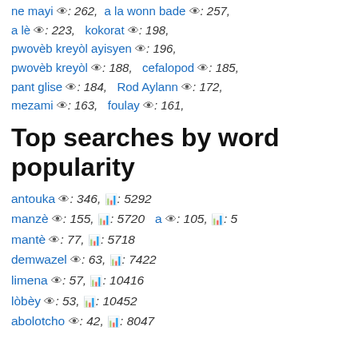ne mayi 👁: 262, a la wonn bade 👁: 257, a lè 👁: 223, kokorat 👁: 198, pwovèb kreyòl ayisyen 👁: 196, pwovèb kreyòl 👁: 188, cefalopod 👁: 185, pant glise 👁: 184, Rod Aylann 👁: 172, mezami 👁: 163, foulay 👁: 161,
Top searches by word popularity
antouka 👁: 346, 📊: 5292
manzè 👁: 155, 📊: 5720   a 👁: 105, 📊: 5
mantè 👁: 77, 📊: 5718
demwazel 👁: 63, 📊: 7422
limena 👁: 57, 📊: 10416
lòbèy 👁: 53, 📊: 10452
abolotcho 👁: 42, 📊: 8047